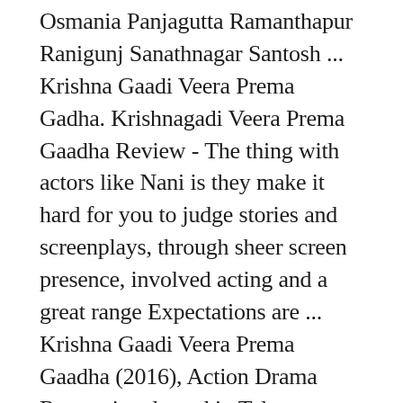Osmania Panjagutta Ramanthapur Ranigunj Sanathnagar Santosh ... Krishna Gaadi Veera Prema Gadha. Krishnagadi Veera Prema Gaadha Review - The thing with actors like Nani is they make it hard for you to judge stories and screenplays, through sheer screen presence, involved acting and a great range Expectations are ... Krishna Gaadi Veera Prema Gaadha (2016), Action Drama Romantic released in Telugu language in theatre near you in National Capital Region (NCR). Krishna Gaadi Veera Prema Gaadha Review & Rating: Actor Nani's much-awaited film “Krishna Gadi Veera Prema Gadha” (KVPG) is all set to hit the screens on 12th February 2016 and competing with Aadi's